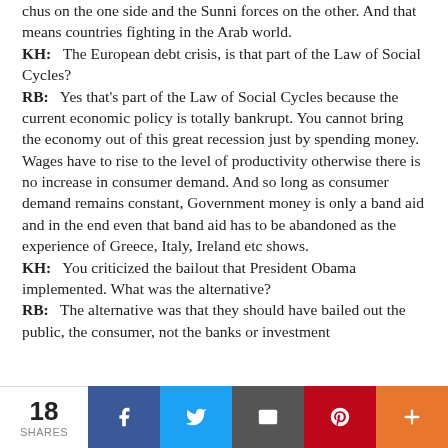chus on the one side and the Sunni forces on the other. And that means countries fighting in the Arab world.
KH:   The European debt crisis, is that part of the Law of Social Cycles?
RB:   Yes that's part of the Law of Social Cycles because the current economic policy is totally bankrupt. You cannot bring the economy out of this great recession just by spending money. Wages have to rise to the level of productivity otherwise there is no increase in consumer demand. And so long as consumer demand remains constant, Government money is only a band aid and in the end even that band aid has to be abandoned as the experience of Greece, Italy, Ireland etc shows.
KH:   You criticized the bailout that President Obama implemented. What was the alternative?
RB:   The alternative was that they should have bailed out the public, the consumer, not the banks or investment
18 SHARES  [Facebook] [Twitter] [Email] [Pinterest] [More]